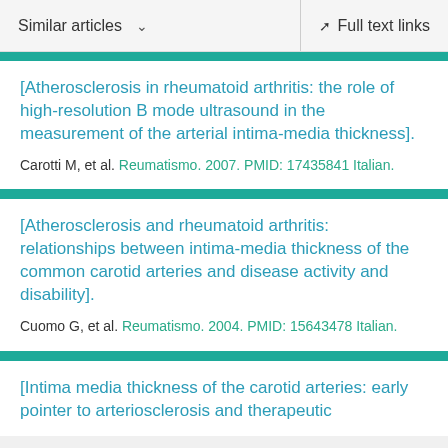Similar articles   Full text links
[Atherosclerosis in rheumatoid arthritis: the role of high-resolution B mode ultrasound in the measurement of the arterial intima-media thickness].
Carotti M, et al. Reumatismo. 2007. PMID: 17435841 Italian.
[Atherosclerosis and rheumatoid arthritis: relationships between intima-media thickness of the common carotid arteries and disease activity and disability].
Cuomo G, et al. Reumatismo. 2004. PMID: 15643478 Italian.
[Intima media thickness of the carotid arteries: early pointer to arteriosclerosis and therapeutic